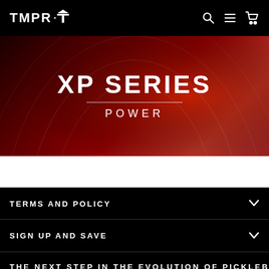TMPR [logo]
[Figure (photo): Dark red hero banner showing 'XP SERIES' in large bold white uppercase letters with 'POWER' below in spaced uppercase letters, on a gradient dark red background with decorative arc lines]
TERMS AND POLICY
SIGN UP AND SAVE
THE NEXT STEP IN THE EVOLUTION OF PICKLEBALL